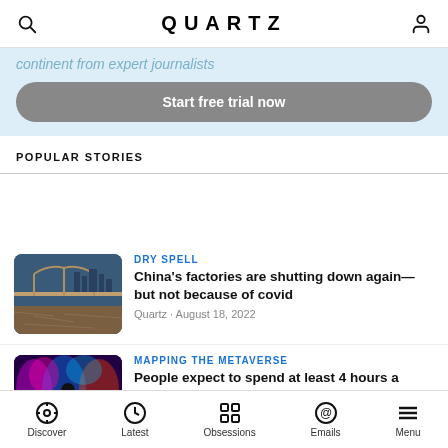QUARTZ
continent from expert journalists
Start free trial now
POPULAR STORIES
DRY SPELL
China's factories are shutting down again—but not because of covid
Quartz · August 18, 2022
MAPPING THE METAVERSE
People expect to spend at least 4 hours a
Discover  Latest  Obsessions  Emails  Menu